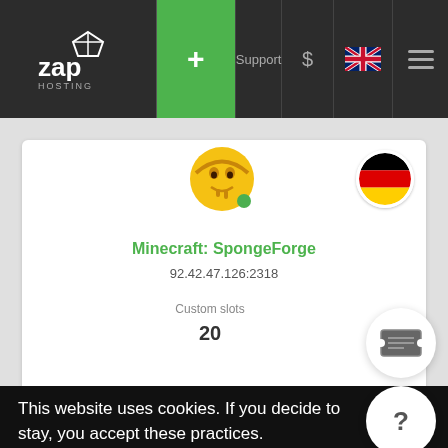ZAP Hosting | + | Support | $ | [UK flag] | [menu]
[Figure (logo): ZAP Hosting logo in white on dark background]
[Figure (illustration): Minecraft Creeper-style golden character icon with green dot indicator]
[Figure (illustration): German flag circular badge]
Minecraft: SpongeForge
92.42.47.126:2318
Custom slots
20
[Figure (illustration): Ticket/coupon icon button]
[Figure (illustration): Question mark help button]
This website uses cookies. If you decide to stay, you accept these practices.
OK